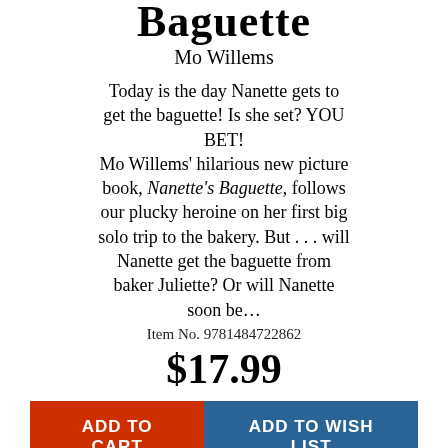Baguette
Mo Willems
Today is the day Nanette gets to get the baguette! Is she set? YOU BET!
Mo Willems' hilarious new picture book, Nanette's Baguette, follows our plucky heroine on her first big solo trip to the bakery. But . . . will Nanette get the baguette from baker Juliette? Or will Nanette soon be…
Item No. 9781484722862
$17.99
[Figure (screenshot): Two buttons side by side: orange 'ADD TO CART' button on left, dark blue 'ADD TO WISH LIST' button on right]
[Figure (illustration): Bottom portion showing a cartoon character on the left and a dark book cover on the right with text 'Middle school is hard enough without being the...']